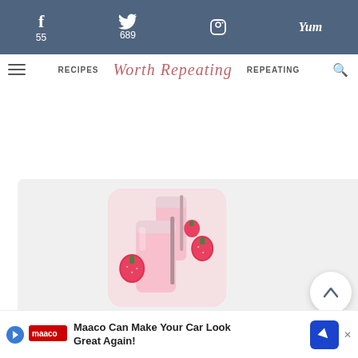f 55   [twitter] 689   [pinterest]   yum
RECIPES   Worth Repeating   REPEATING
[Figure (photo): Strawberry smoothie in glass with strawberries around it, rounded square crop]
Healthy Strawberry Smoothie
This one is sweet, creamy, and full of
nut                                        for
Maaco Can Make Your Car Look Great Again!